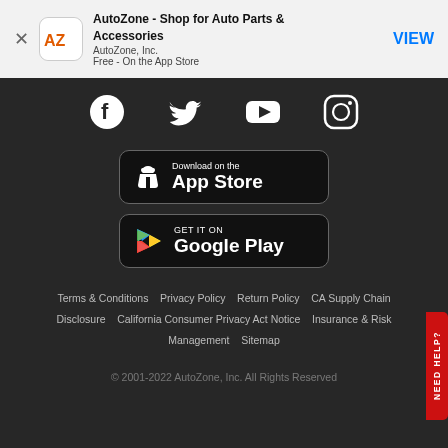[Figure (screenshot): App Store banner for AutoZone app showing logo, app title, developer name, price, and VIEW button]
[Figure (infographic): Dark footer with social media icons (Facebook, Twitter, YouTube, Instagram), App Store and Google Play download buttons, footer navigation links, copyright notice, and NEED HELP? button]